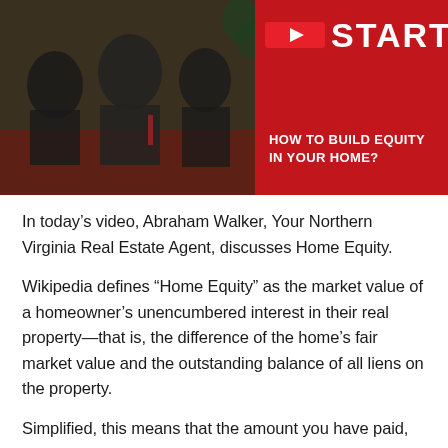[Figure (photo): Family photo with dark overlay on left side showing people sitting together, and a red panel on the right with text 'START?' and 'HOW TO BUILD EQUITY IN YOUR HOME?']
In today's video, Abraham Walker, Your Northern Virginia Real Estate Agent, discusses Home Equity.
Wikipedia defines “Home Equity” as the market value of a homeowner’s unencumbered interest in their real property—that is, the difference of the home’s fair market value and the outstanding balance of all liens on the property.
Simplified, this means that the amount you have paid, that is no longer owed against the home, becomes is your portion of ownership. The bank